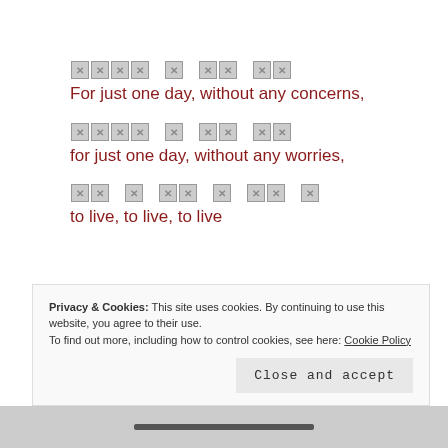[REDACTED] For just one day, without any concerns,
[REDACTED] for just one day, without any worries,
[REDACTED] to live, to live, to live
Privacy & Cookies: This site uses cookies. By continuing to use this website, you agree to their use. To find out more, including how to control cookies, see here: Cookie Policy
Close and accept